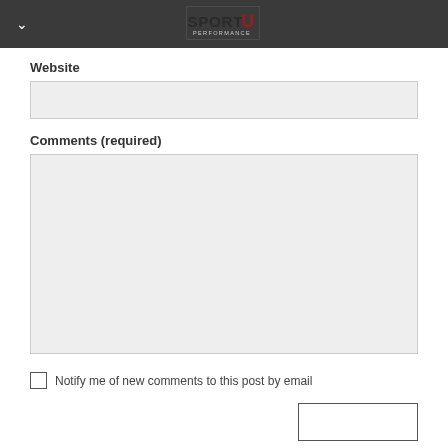SportU Performance logo header
Website
Comments (required)
Notify me of new comments to this post by email